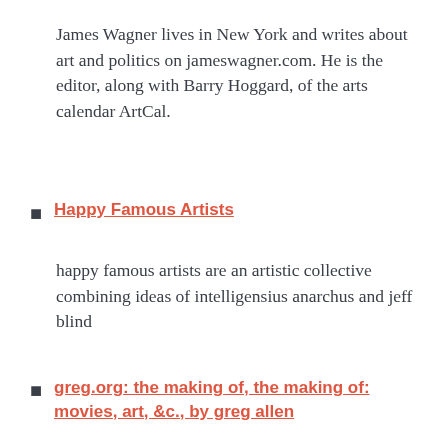James Wagner lives in New York and writes about art and politics on jameswagner.com. He is the editor, along with Barry Hoggard, of the arts calendar ArtCal.
Happy Famous Artists
happy famous artists are an artistic collective combining ideas of intelligensius anarchus and jeff blind
greg.org: the making of, the making of: movies, art, &c., by greg allen
On greg.org, I document my filmmaking and writing projects, which currently include a series